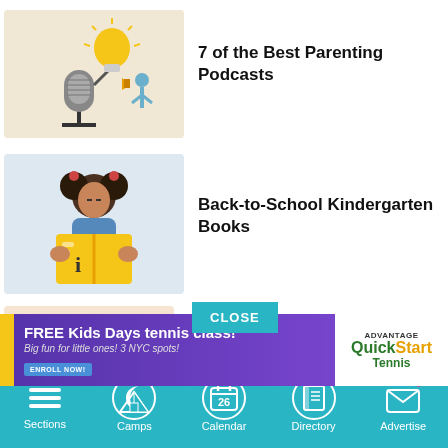[Figure (illustration): Illustration of a microphone with a lightbulb above it and a small person with a megaphone, on a beige background]
7 of the Best Parenting Podcasts
[Figure (illustration): Illustration of a girl with pigtails reading a large yellow book, on a light blue background]
Back-to-School Kindergarten Books
[Figure (screenshot): Close button (teal) and advertisement banner for FREE Kids Days tennis class with Advantage QuickStart Tennis logo]
s for
Sections  Camps  Calendar  Directory  Advertise